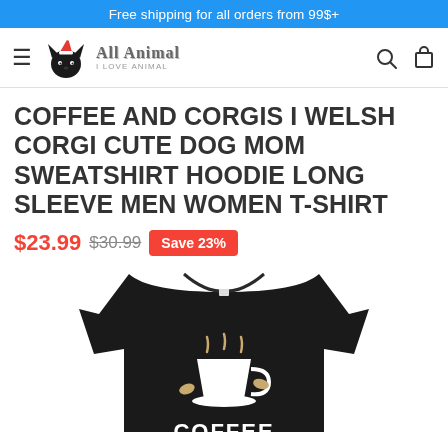Free shipping for all orders from 99$+
[Figure (logo): All Animal store logo with wolf/dog wearing a Santa hat and text 'All Animal - I Love Animal']
COFFEE AND CORGIS I WELSH CORGI CUTE DOG MOM SWEATSHIRT HOODIE LONG SLEEVE MEN WOMEN T-SHIRT
$23.99 $30.99 Save 23%
[Figure (photo): Black t-shirt with coffee and corgi graphic design showing a coffee cup and the word COFFEE]